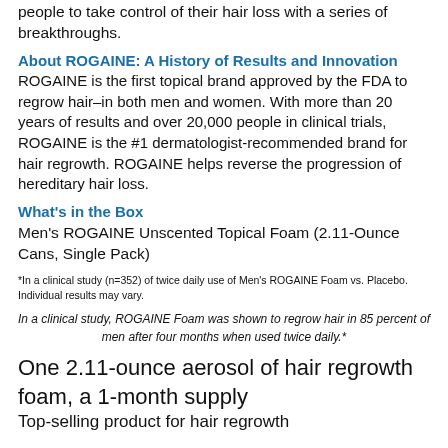people to take control of their hair loss with a series of breakthroughs.
About ROGAINE: A History of Results and Innovation
ROGAINE is the first topical brand approved by the FDA to regrow hair–in both men and women. With more than 20 years of results and over 20,000 people in clinical trials, ROGAINE is the #1 dermatologist-recommended brand for hair regrowth. ROGAINE helps reverse the progression of hereditary hair loss.
What's in the Box
Men's ROGAINE Unscented Topical Foam (2.11-Ounce Cans, Single Pack)
*In a clinical study (n=352) of twice daily use of Men's ROGAINE Foam vs. Placebo. Individual results may vary.
In a clinical study, ROGAINE Foam was shown to regrow hair in 85 percent of men after four months when used twice daily.*
One 2.11-ounce aerosol of hair regrowth foam, a 1-month supply
Top-selling product for hair regrowth